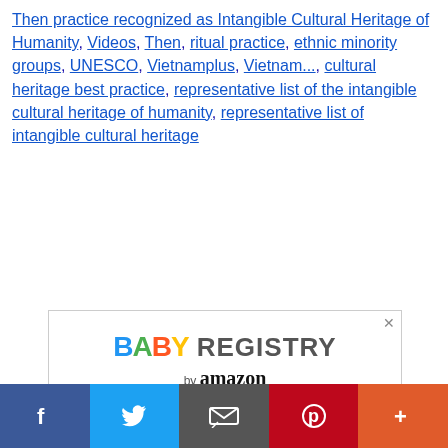Then practice recognized as Intangible Cultural Heritage of Humanity, Videos, Then, ritual practice, ethnic minority groups, UNESCO, Vietnamplus, Vietnam..., cultural heritage best practice, representative list of the intangible cultural heritage of humanity, representative list of intangible cultural heritage
[Figure (screenshot): Amazon Baby Registry advertisement banner showing colorful 'BABY REGISTRY by amazon' logo and text 'Earth's Largest Baby Selection']
Social share bar: Facebook, Twitter, Email, Pinterest, More